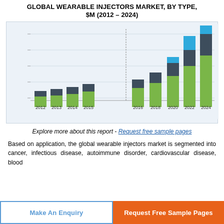GLOBAL WEARABLE INJECTORS MARKET, BY TYPE, $M (2012 – 2024)
[Figure (stacked-bar-chart): Global Wearable Injectors Market, by Type, $M (2012–2024)]
Explore more about this report - Request free sample pages
Based on application, the global wearable injectors market is segmented into cancer, infectious disease, autoimmune disorder, cardiovascular disease, blood disorder, and other applications.